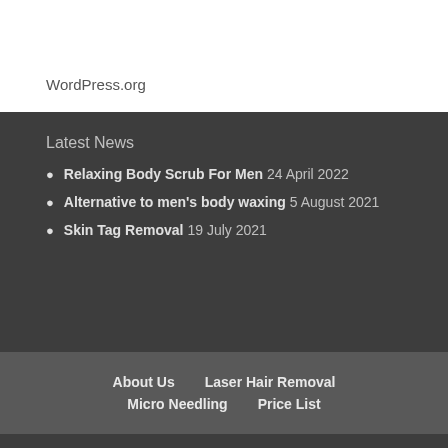WordPress.org
Latest News
Relaxing Body Scrub For Men 24 April 2022
Alternative to men's body waxing 5 August 2021
Skin Tag Removal 19 July 2021
About Us  Laser Hair Removal  Micro Needling  Price List